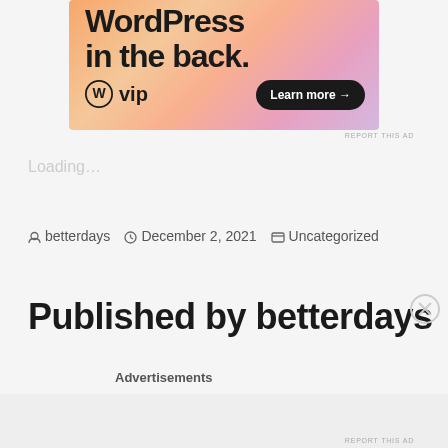[Figure (screenshot): WordPress VIP advertisement banner with colorful gradient background showing 'WordPress in the back.' text, WordPress VIP logo, and 'Learn more' button]
REPORT THIS AD
Loading…
betterdays   December 2, 2021   Uncategorized
Published by betterdays
Advertisements
REPORT THIS AD